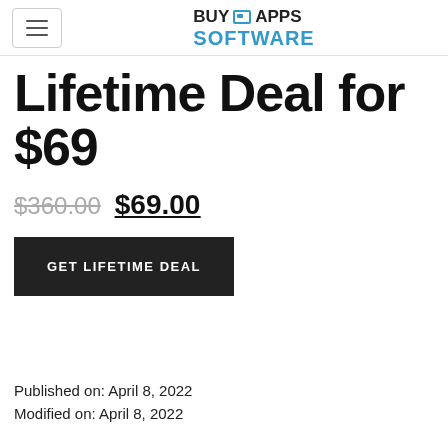BUY APPS SOFTWARE
Lifetime Deal for $69
$360.00 $69.00
GET LIFETIME DEAL
Published on: April 8, 2022
Modified on: April 8, 2022